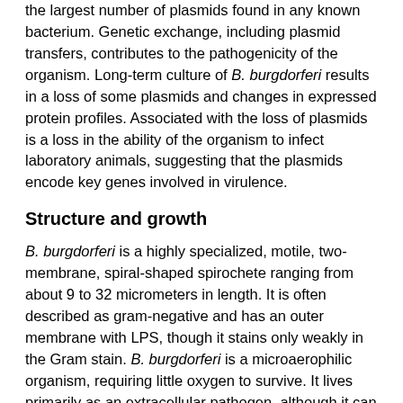the largest number of plasmids found in any known bacterium. Genetic exchange, including plasmid transfers, contributes to the pathogenicity of the organism. Long-term culture of B. burgdorferi results in a loss of some plasmids and changes in expressed protein profiles. Associated with the loss of plasmids is a loss in the ability of the organism to infect laboratory animals, suggesting that the plasmids encode key genes involved in virulence.
Structure and growth
B. burgdorferi is a highly specialized, motile, two-membrane, spiral-shaped spirochete ranging from about 9 to 32 micrometers in length. It is often described as gram-negative and has an outer membrane with LPS, though it stains only weakly in the Gram stain. B. burgdorferi is a microaerophilic organism, requiring little oxygen to survive. It lives primarily as an extracellular pathogen, although it can also hide intracellularly (see Mechanisms of persistence section).
Like other spirochetes such as T. pallidum (the agent of syphilis), B. burgdorferi has an axial filament composed of flagella which run lengthways between its cell wall and outer membrane. This structure allows the spirochete to move efficiently in corkscrew fashion through viscous media, such as connective tissue. As a result, B. burgdorferi can disseminate throughout the body within days to weeks of infection, penetrating deeply into tissue where the immune system and antibiotics